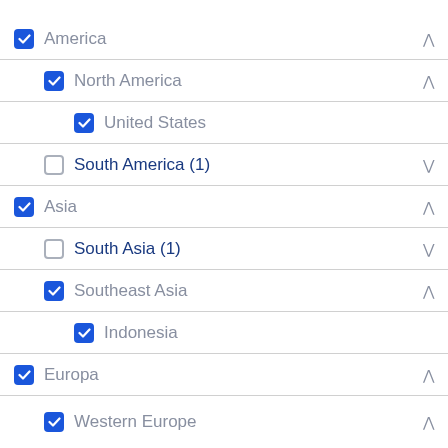America (checked, expanded)
North America (checked, expanded)
United States (checked)
South America (1) (unchecked, collapsed)
Asia (checked, expanded)
South Asia (1) (unchecked, collapsed)
Southeast Asia (checked, expanded)
Indonesia (checked)
Europa (checked, expanded)
Western Europe (checked, expanded)